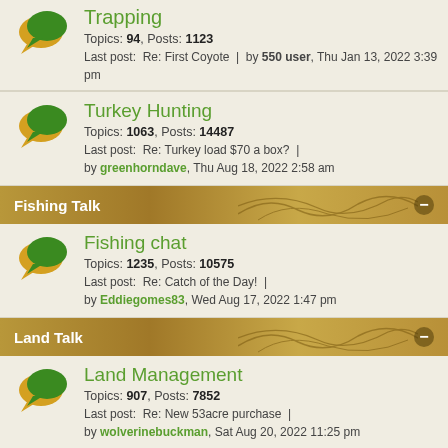Trapping
Topics: 94, Posts: 1123
Last post: Re: First Coyote | by 550 user, Thu Jan 13, 2022 3:39 pm
Turkey Hunting
Topics: 1063, Posts: 14487
Last post: Re: Turkey load $70 a box? | by greenhorndave, Thu Aug 18, 2022 2:58 am
Fishing Talk
Fishing chat
Topics: 1235, Posts: 10575
Last post: Re: Catch of the Day! | by Eddiegomes83, Wed Aug 17, 2022 1:47 pm
Land Talk
Land Management
Topics: 907, Posts: 7852
Last post: Re: New 53acre purchase | by wolverinebuckman, Sat Aug 20, 2022 11:25 pm
Swap & Trade